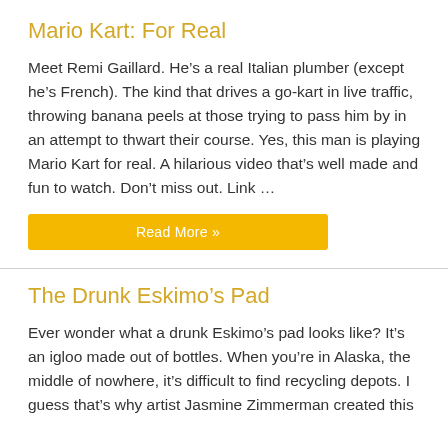Mario Kart: For Real
Meet Remi Gaillard. He’s a real Italian plumber (except he’s French). The kind that drives a go-kart in live traffic, throwing banana peels at those trying to pass him by in an attempt to thwart their course. Yes, this man is playing Mario Kart for real. A hilarious video that’s well made and fun to watch. Don’t miss out. Link …
Read More »
The Drunk Eskimo’s Pad
Ever wonder what a drunk Eskimo’s pad looks like? It’s an igloo made out of bottles. When you’re in Alaska, the middle of nowhere, it’s difficult to find recycling depots. I guess that’s why artist Jasmine Zimmerman created this